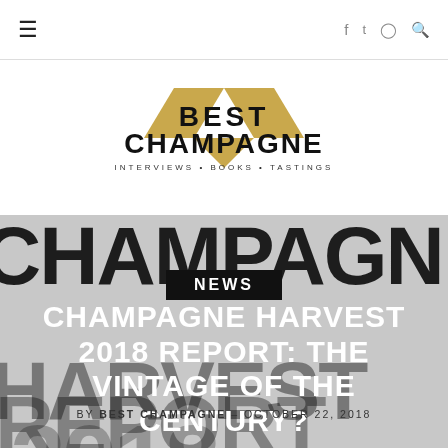☰  f  tw  ig  🔍
[Figure (logo): Best Champagne logo with gold chevron/arrow shapes and text: BEST CHAMPAGNE — INTERVIEWS • BOOKS • TASTINGS]
NEWS
CHAMPAGNE HARVEST 2018 REPORT: THE VINTAGE OF THE CENTURY?
BY BEST CHAMPAGNE — OCTOBER 22, 2018